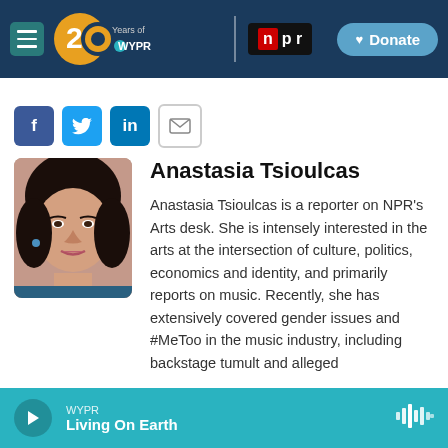[Figure (screenshot): WYPR 20 Years navigation bar with hamburger menu, WYPR 20 Years logo, NPR logo, and Donate button]
[Figure (infographic): Social sharing buttons: Facebook, Twitter, LinkedIn, Email]
[Figure (photo): Portrait photo of Anastasia Tsioulcas, a woman with dark hair]
Anastasia Tsioulcas
Anastasia Tsioulcas is a reporter on NPR's Arts desk. She is intensely interested in the arts at the intersection of culture, politics, economics and identity, and primarily reports on music. Recently, she has extensively covered gender issues and #MeToo in the music industry, including backstage tumult and alleged
WYPR Living On Earth